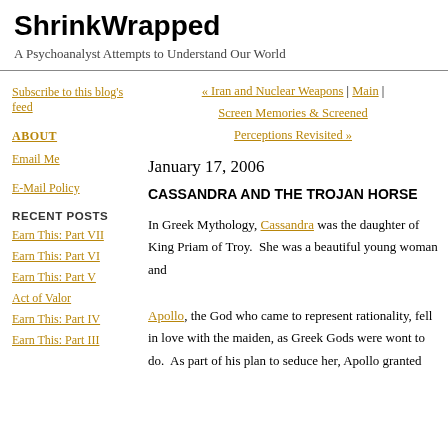ShrinkWrapped
A Psychoanalyst Attempts to Understand Our World
Subscribe to this blog's feed
ABOUT
Email Me
E-Mail Policy
RECENT POSTS
Earn This: Part VII
Earn This: Part VI
Earn This: Part V
Act of Valor
Earn This: Part IV
Earn This: Part III
« Iran and Nuclear Weapons | Main | Screen Memories & Screened Perceptions Revisited »
January 17, 2006
CASSANDRA AND THE TROJAN HORSE
In Greek Mythology, Cassandra was the daughter of King Priam of Troy. She was a beautiful young woman and Apollo, the God who came to represent rationality, fell in love with the maiden, as Greek Gods were wont to do. As part of his plan to seduce her, Apollo granted